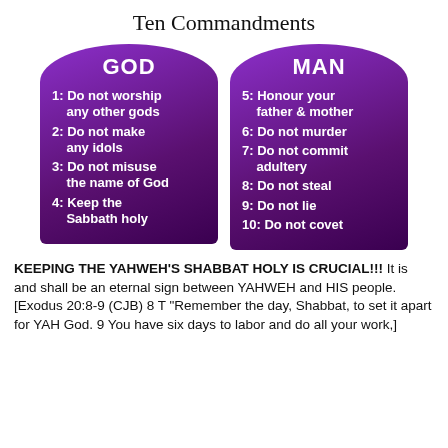Ten Commandments
[Figure (illustration): Two stone tablet shapes in purple showing the Ten Commandments split into GOD (1-4) and MAN (5-10)]
KEEPING THE YAHWEH'S SHABBAT HOLY IS CRUCIAL!!! It is and shall be an eternal sign between YAHWEH and HIS people. [Exodus 20:8-9 (CJB) 8 T "Remember the day, Shabbat, to set it apart for YAH God. 9 You have six days to labor and do all your work,]